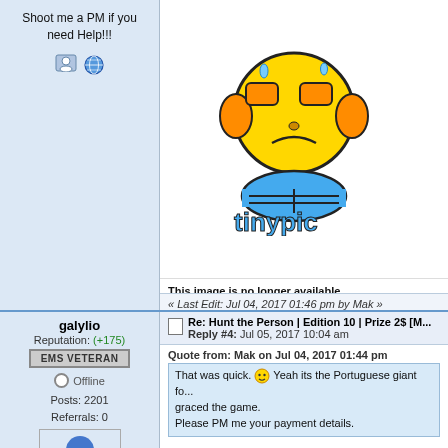Shoot me a PM if you need Help!!!
[Figure (illustration): TinyPic placeholder image: sad yellow cartoon face with orange ears holding head in hands, blue pants, and tinypic logo below]
This image is no longer available. Visit tinypic.com for more information.
« Last Edit: Jul 04, 2017 01:46 pm by Mak »
galylio
Reputation: (+175)
EMS VETERAN
Offline
Posts: 2201
Referrals: 0
Re: Hunt the Person | Edition 10 | Prize 2$ [... Reply #4: Jul 05, 2017 10:04 am
Quote from: Mak on Jul 04, 2017 01:44 pm
That was quick. Yeah its the Portuguese giant for... graced the game.
Please PM me your payment details.
[Figure (illustration): Partial TinyPic placeholder image at bottom of page showing top of sad yellow cartoon face]